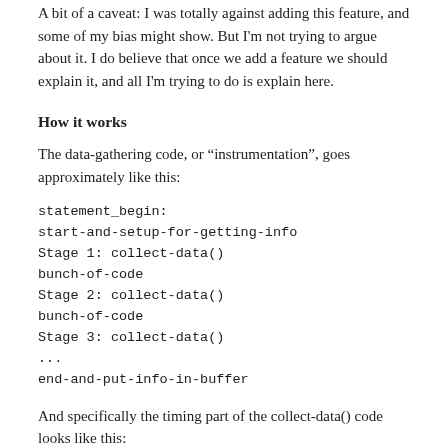A bit of a caveat: I was totally against adding this feature, and some of my bias might show. But I'm not trying to argue about it. I do believe that once we add a feature we should explain it, and all I'm trying to do is explain here.
How it works
The data-gathering code, or “instrumentation”, goes approximately like this:
statement_begin:
start-and-setup-for-getting-info
Stage 1: collect-data()
bunch-of-code
Stage 2: collect-data()
bunch-of-code
Stage 3: collect-data()
...
end-and-put-info-in-buffer
And specifically the timing part of the collect-data() code looks like this:
In sql/sql_profile.cc: